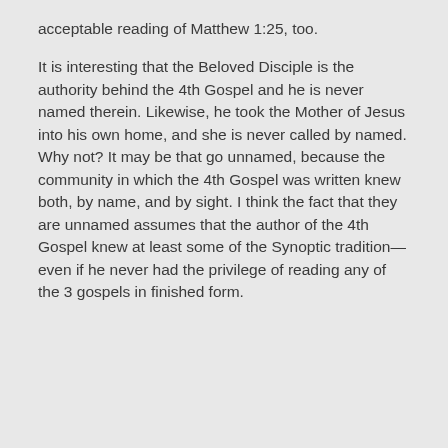acceptable reading of Matthew 1:25, too.
It is interesting that the Beloved Disciple is the authority behind the 4th Gospel and he is never named therein. Likewise, he took the Mother of Jesus into his own home, and she is never called by named. Why not? It may be that go unnamed, because the community in which the 4th Gospel was written knew both, by name, and by sight. I think the fact that they are unnamed assumes that the author of the 4th Gospel knew at least some of the Synoptic tradition—even if he never had the privilege of reading any of the 3 gospels in finished form.